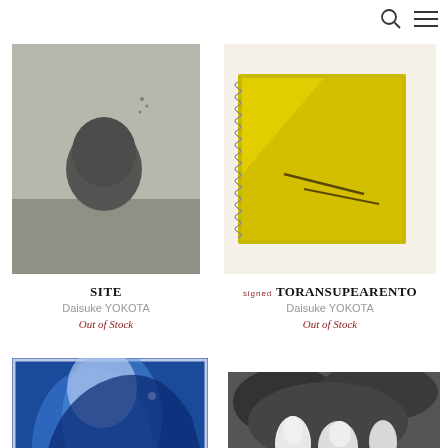Search and Menu navigation icons
[Figure (photo): Black and white photograph of a lone tree on a hill, book cover for SITE]
SITE
Daisuke YOKOTA
Out of Stock
[Figure (photo): Yellow spiral-bound notebook with abstract yellow interior photograph, book cover for TORANSUPEARENTO]
SIGNED TORANSUPEARENTO
Daisuke YOKOTA
Out of Stock
[Figure (photo): Blue cyanotype-style abstract photograph, partial book cover]
[Figure (photo): Black and white photograph with white bird-like shapes against dark foliage, partial book cover]